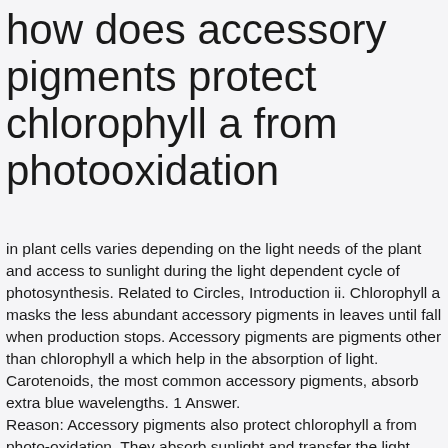how does accessory pigments protect chlorophyll a from photooxidation
in plant cells varies depending on the light needs of the plant and access to sunlight during the light dependent cycle of photosynthesis. Related to Circles, Introduction ii. Chlorophyll a masks the less abundant accessory pigments in leaves until fall when production stops. Accessory pigments are pigments other than chlorophyll a which help in the absorption of light. Carotenoids, the most common accessory pigments, absorb extra blue wavelengths. 1 Answer.
Reason: Accessory pigments also protect chlorophyll a from photo-oxidation. They absorb sunlight and transfer the light energy to the chlorophyll a. Accessory pigments protect the … In the absence of chlorophyll, the dazzling colors of accessory pigments hidden in the leaves are revealed. Chlorophyll c 4. Try it now. Oxygen is a byproduct of photosynthesis that's released into the water or air surrounding the plant. The following functions: 1. they absorb light and transfer of how